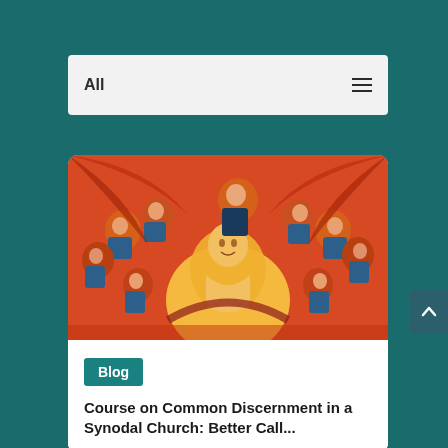All
[Figure (illustration): Stylized painting of multiple faces/figures with warm orange and red tones, surrounding a central glowing yellow figure. Religious or spiritual artwork style.]
Blog
Course on Common Discernment in a Synodal Church: Better Call...